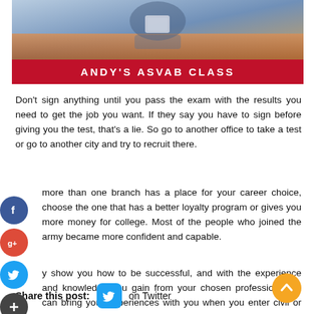[Figure (photo): Person sitting on a couch reading or studying, with a warm orange/brown couch visible. Red banner below with text ANDY'S ASVAB CLASS.]
ANDY'S ASVAB CLASS
Don't sign anything until you pass the exam with the results you need to get the job you want. If they say you have to sign before giving you the test, that's a lie. So go to another office to take a test or go to another city and try to recruit there.
more than one branch has a place for your career choice, choose the one that has a better loyalty program or gives you more money for college. Most of the people who joined the army became more confident and capable.
y show you how to be successful, and with the experience and knowledge you gain from your chosen profession, you can bring your experiences with you when you enter civil or contract work after you retire, or when you end your day.
Share this post:  on Twitter